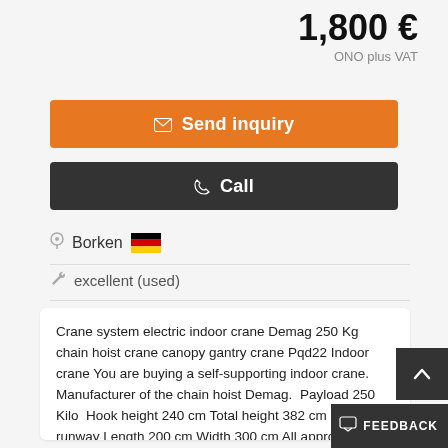1,800 €
ONO plus VAT
Send inquiry
Call
Borken
excellent (used)
Crane system electric indoor crane Demag 250 Kg chain hoist crane canopy gantry crane Pqd22 Indoor crane You are buying a self-supporting indoor crane. Manufacturer of the chain hoist Demag.  Payload 250 Kilo  Hook height 240 cm Total height 382 cm Crane runway Length 200 cm Width 300 cm All approximate data Further crane systems on offer The crane system has already been dismantled. These costs 499 € stand as shipping costs. There are no further costs. We dismantle a complete pla